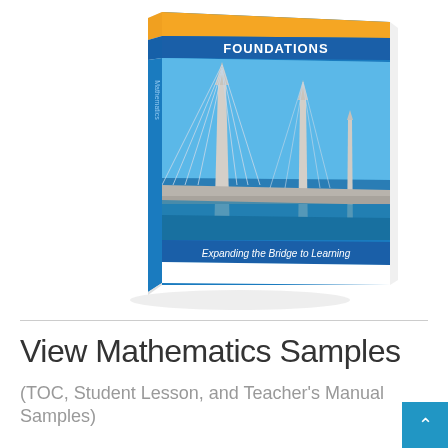[Figure (photo): A 3D rendered book cover showing a cable-stayed bridge photograph. The book is titled 'Foundations Mathematics' with the tagline 'Expanding the Bridge to Learning'. The cover features a blue sky and a large bridge with white concrete pillars and cables.]
View Mathematics Samples
(TOC, Student Lesson, and Teacher's Manual Samples)